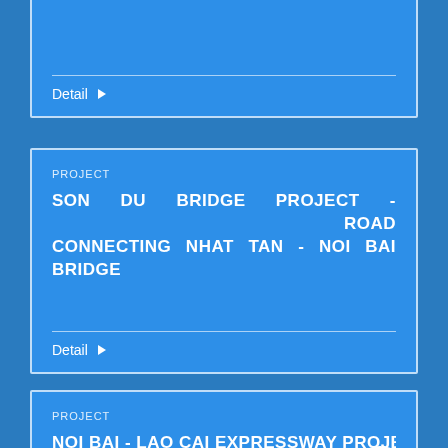Detail
PROJECT
SON DU BRIDGE PROJECT - ROAD CONNECTING NHAT TAN - NOI BAI BRIDGE
Detail
PROJECT
NOI BAI - LAO CAI EXPRESSWAY PROJECT